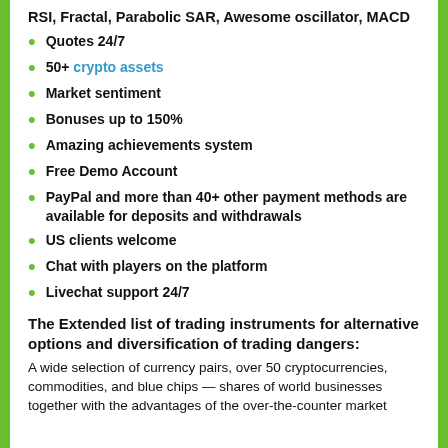RSI, Fractal, Parabolic SAR, Awesome oscillator, MACD
Quotes 24/7
50+ crypto assets
Market sentiment
Bonuses up to 150%
Amazing achievements system
Free Demo Account
PayPal and more than 40+ other payment methods are available for deposits and withdrawals
US clients welcome
Chat with players on the platform
Livechat support 24/7
The Extended list of trading instruments for alternative options and diversification of trading dangers:
A wide selection of currency pairs, over 50 cryptocurrencies, commodities, and blue chips — shares of world businesses together with the advantages of the over-the-counter market